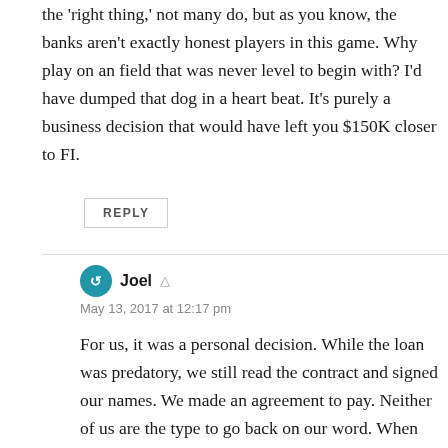the 'right thing,' not many do, but as you know, the banks aren't exactly honest players in this game. Why play on an field that was never level to begin with? I'd have dumped that dog in a heart beat. It's purely a business decision that would have left you $150K closer to FI.
REPLY
Joel · May 13, 2017 at 12:17 pm
For us, it was a personal decision. While the loan was predatory, we still read the contract and signed our names. We made an agreement to pay. Neither of us are the type to go back on our word. When we sign our names, we mean it. It's less about credit score, and more about doing the right thing...